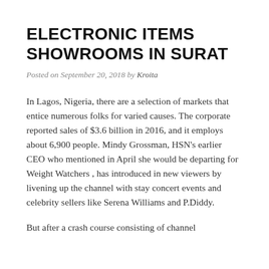ELECTRONIC ITEMS SHOWROOMS IN SURAT
Posted on September 20, 2018 by Kroita
In Lagos, Nigeria, there are a selection of markets that entice numerous folks for varied causes. The corporate reported sales of $3.6 billion in 2016, and it employs about 6,900 people. Mindy Grossman, HSN’s earlier CEO who mentioned in April she would be departing for Weight Watchers , has introduced in new viewers by livening up the channel with stay concert events and celebrity sellers like Serena Williams and P.Diddy.
But after a crash course consisting of channel